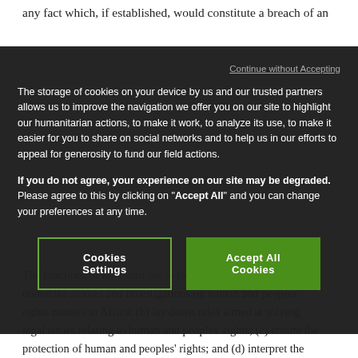any fact which, if established, would constitute a breach of an
Continue without Accepting
The storage of cookies on your device by us and our trusted partners allows us to improve the navigation we offer you on our site to highlight our humanitarian actions, to make it work, to analyze its use, to make it easier for you to share on social networks and to help us in our efforts to appeal for generosity to fund our field actions.
If you do not agree, your experience on our site may be degraded. Please agree to this by clicking on "Accept All" and you can change your preferences at any time.
Cookies Settings
Accept All Cookies
The functions of the Court are to (a) collect documents and undertake studies and investigations on human and peoples' rights matters in Africa; (b) lay down rules aimed at solving legal issues relating to human and peoples' rights; (c) ensure the protection of human and peoples' rights; and (d) interpret the